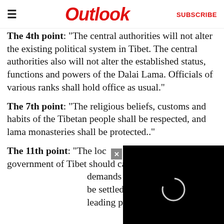Outlook  SUBSCRIBE
The 4th point: "The central authorities will not alter the existing political system in Tibet. The central authorities also will not alter the established status, functions and powers of the Dalai Lama. Officials of various ranks shall hold office as usual."
The 7th point: "The religious beliefs, customs and habits of the Tibetan people shall be respected, and lama monasteries shall be protected.."
The 11th point: "The local government of Tibet should carry out reforms... demands for reforms raised... be settled by means of co... leading personnel of Tibet..."
[Figure (screenshot): Black video player overlay in bottom right corner with a close button (x) and a loading spinner circle visible on dark background]